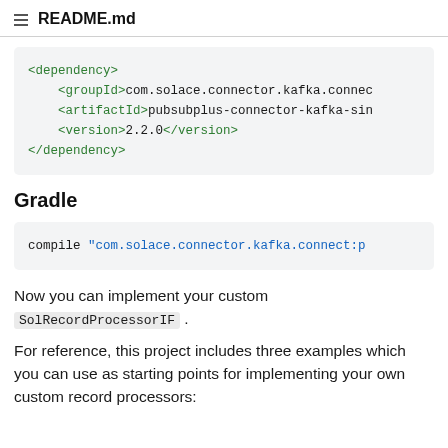README.md
<dependency>
    <groupId>com.solace.connector.kafka.connec
    <artifactId>pubsubplus-connector-kafka-sin
    <version>2.2.0</version>
</dependency>
Gradle
compile "com.solace.connector.kafka.connect:p
Now you can implement your custom SolRecordProcessorIF.
For reference, this project includes three examples which you can use as starting points for implementing your own custom record processors: